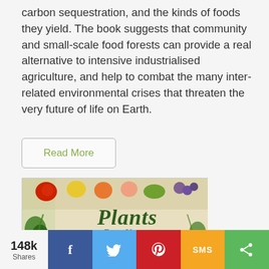carbon sequestration, and the kinds of foods they yield. The book suggests that community and small-scale food forests can provide a real alternative to intensive industrialised agriculture, and help to combat the many inter-related environmental crises that threaten the very future of life on Earth.
Read More
[Figure (illustration): Book cover of 'Plants For Your Food Forest' showing botanical illustrations of various fruits and plants on the border, with the title text in green on a cream/aged background. Subtitle reads '500 PLANTS FOR TEMPERATE FOOD FORESTS AND PERMACULTURE GARDENS'. Features a circular logo at the bottom.]
148k Shares